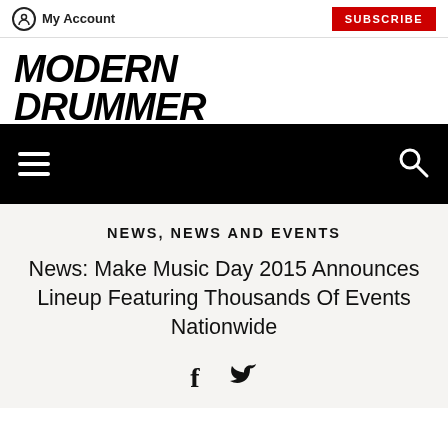My Account | SUBSCRIBE
[Figure (logo): Modern Drummer magazine logo in bold italic black uppercase text]
[Figure (other): Black navigation bar with hamburger menu icon on left and search icon on right]
NEWS, NEWS AND EVENTS
News: Make Music Day 2015 Announces Lineup Featuring Thousands Of Events Nationwide
[Figure (other): Social media share icons: Facebook (f) and Twitter (bird)]